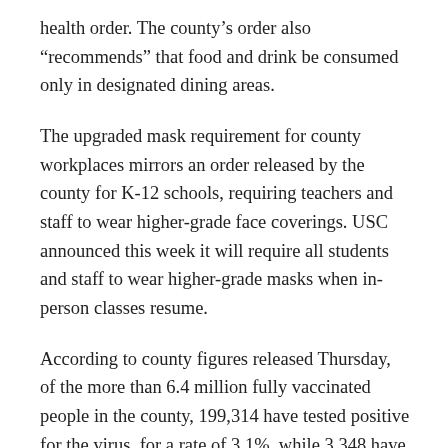health order. The county’s order also “recommends” that food and drink be consumed only in designated dining areas.
The upgraded mask requirement for county workplaces mirrors an order released by the county for K-12 schools, requiring teachers and staff to wear higher-grade face coverings. USC announced this week it will require all students and staff to wear higher-grade masks when in-person classes resume.
According to county figures released Thursday, of the more than 6.4 million fully vaccinated people in the county, 199,314 have tested positive for the virus, for a rate of 3.1%, while 3,348 have been hospitalized, for a rate of 0.05%. A total of 625 fully vaccinated people have died, for a rate of 0.01%.
The testing-positivity rate, however, may be artificially low due